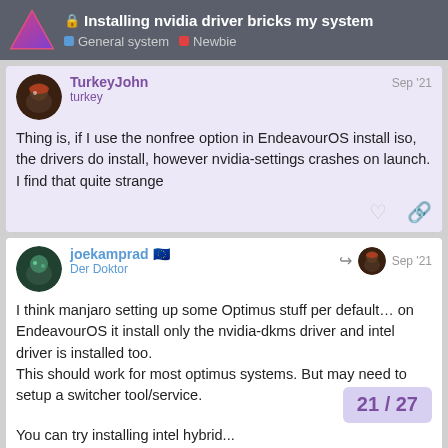Installing nvidia driver bricks my system — General system · Newbie
TurkeyJohn
turkey
Sep '21
Thing is, if I use the nonfree option in EndeavourOS install iso, the drivers do install, however nvidia-settings crashes on launch. I find that quite strange
joekamprad 🇪🇺
Der Doktor
Sep '21
I think manjaro setting up some Optimus stuff per default… on EndeavourOS it install only the nvidia-dkms driver and intel driver is installed too.
This should work for most optimus systems. But may need to setup a switcher tool/service.
21 / 27